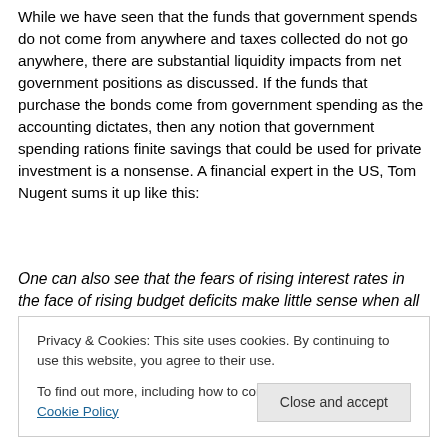While we have seen that the funds that government spends do not come from anywhere and taxes collected do not go anywhere, there are substantial liquidity impacts from net government positions as discussed. If the funds that purchase the bonds come from government spending as the accounting dictates, then any notion that government spending rations finite savings that could be used for private investment is a nonsense. A financial expert in the US, Tom Nugent sums it up like this:
One can also see that the fears of rising interest rates in the face of rising budget deficits make little sense when all
Privacy & Cookies: This site uses cookies. By continuing to use this website, you agree to their use.
To find out more, including how to control cookies, see here: Cookie Policy
interest rate is always that which the Fed votes on. Note